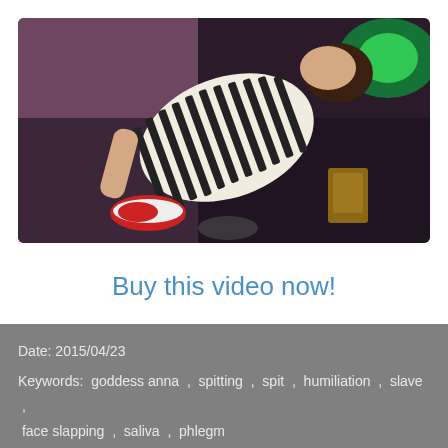[Figure (photo): Person in a striped black-and-white shirt photographed from above at an angle, wearing red and white sneakers, in a room with pink walls and green light]
Buy this video now!
Date: 2015/04/23
Keywords:  goddess anna  ,  spitting  ,  spit  ,  humiliation  ,  slave  ,  face slapping  ,  saliva  ,  phlegm